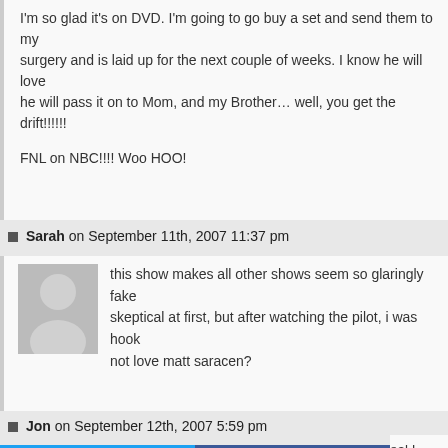I'm so glad it's on DVD. I'm going to go buy a set and send them to my surgery and is laid up for the next couple of weeks. I know he will love he will pass it on to Mom, and my Brother… well, you get the drift!!!!!!

FNL on NBC!!!! Woo HOO!
Sarah on September 11th, 2007 11:37 pm
this show makes all other shows seem so glaringly fake skeptical at first, but after watching the pilot, i was hook not love matt saracen?
Jon on September 12th, 2007 5:59 pm
eal I have with my wife et control of the remot get these DVDs, I kno n almost there just with
[Figure (infographic): Social sharing buttons: Twitter (blue), Facebook (dark blue), Email (grey), WhatsApp (green), SMS (blue), ShareThis (green)]